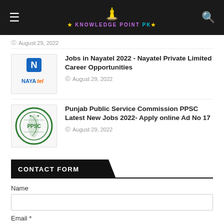Knowledge Point PK - navigation header
August 29, 2022
Jobs in Nayatel 2022 - Nayatel Private Limited Career Opportunities
August 29, 2022
Punjab Public Service Commission PPSC Latest New Jobs 2022- Apply online Ad No 17
August 29, 2022
CONTACT FORM
Name
Email *
Message *